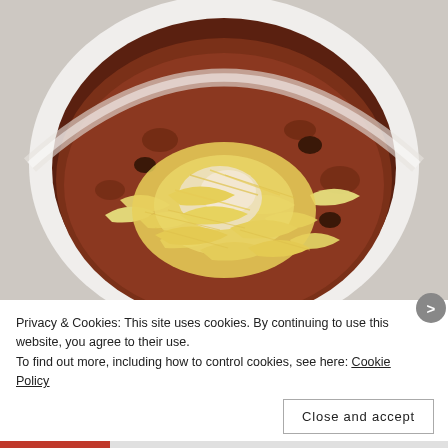[Figure (photo): Top-down view of a white bowl filled with chili topped with a generous amount of shredded yellow and white cheese, sitting on a light gray surface.]
Privacy & Cookies: This site uses cookies. By continuing to use this website, you agree to their use.
To find out more, including how to control cookies, see here: Cookie Policy
Close and accept